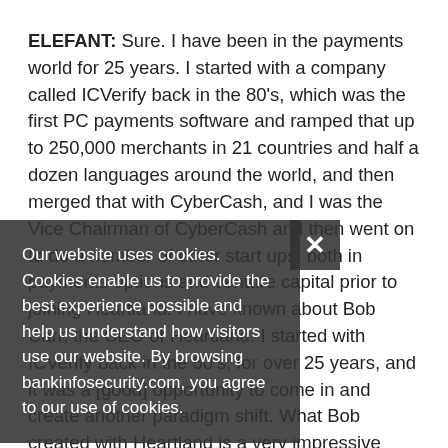ELEFANT: Sure. I have been in the payments world for 25 years. I started with a company called ICVerify back in the 80's, which was the first PC payments software and ramped that up to 250,000 merchants in 21 countries and half a dozen languages around the world, and then merged that with CyberCash, and I was the Vice Chairman of CyberCash and then went on to do a number of other start ups, both in payments options and venture capital prior to joining Heartland. I have known about Bob Carr, the CEO of Heartland. I started with ICVerify back in the 80's, for over 25 years, and it was a [good] opportunity to come in and create another paradigm shift. What Bob created with Heartland is a very impressive organization. We have 3,100 employees, we do 4.2 billion transactions a year, we do not only credit card processing … And I am a nontraditional CIO, so I am not dealing with the plumbing as much as products, so I am
Our website uses cookies. Cookies enable us to provide the best experience possible and help us understand how visitors use our website. By browsing bankinfosecurity.com, you agree to our use of cookies.